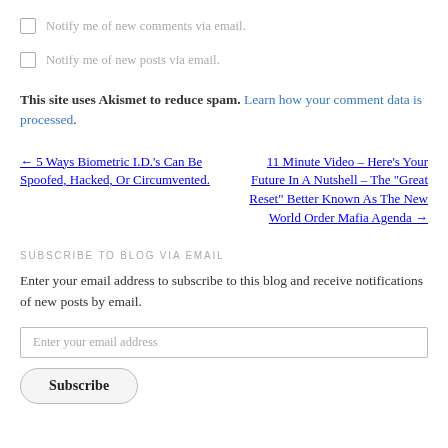Notify me of new comments via email.
Notify me of new posts via email.
This site uses Akismet to reduce spam. Learn how your comment data is processed.
← 5 Ways Biometric I.D.'s Can Be Spoofed, Hacked, Or Circumvented.
11 Minute Video – Here's Your Future In A Nutshell – The "Great Reset" Better Known As The New World Order Mafia Agenda →
SUBSCRIBE TO BLOG VIA EMAIL
Enter your email address to subscribe to this blog and receive notifications of new posts by email.
Enter your email address
Subscribe